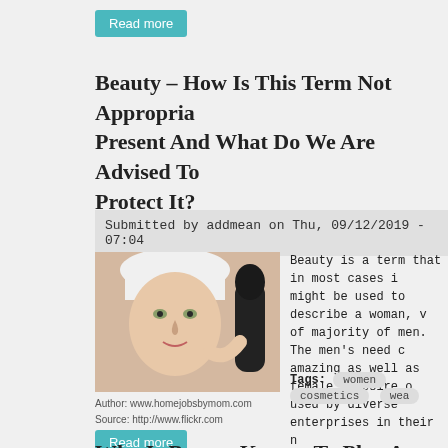Read more
Beauty – How Is This Term Not Appropriately Present And What Do We Are Advised To Protect It?
Submitted by addmean on Thu, 09/12/2019 - 07:04
[Figure (photo): Woman holding a cosmetic tool, wearing white towel on head]
Beauty is a term that in most cases might be used to describe a woman, of majority of men. The men's need amazing as well as female's desire used by diverse enterprises in their
Tags: women  cosmetics  wea
Author: www.homejobsbymom.com
Source: http://www.flickr.com
Read more
Why Is Beauty Known To Play An Increas